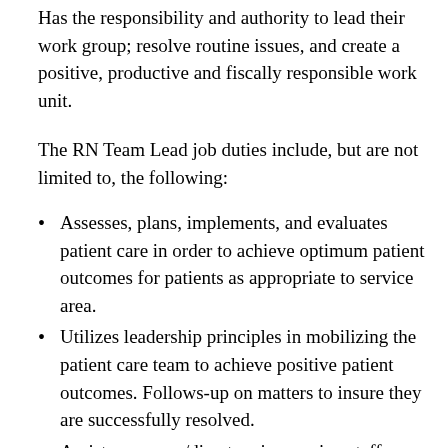Has the responsibility and authority to lead their work group; resolve routine issues, and create a positive, productive and fiscally responsible work unit.
The RN Team Lead job duties include, but are not limited to, the following:
Assesses, plans, implements, and evaluates patient care in order to achieve optimum patient outcomes for patients as appropriate to service area.
Utilizes leadership principles in mobilizing the patient care team to achieve positive patient outcomes. Follows-up on matters to insure they are successfully resolved.
Assists manager/directors in assuring staff